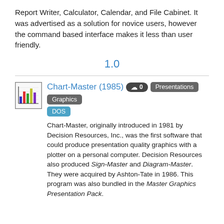Report Writer, Calculator, Calendar, and File Cabinet. It was advertised as a solution for novice users, however the command based interface makes it less than user friendly.
1.0
[Figure (illustration): Small pixel-art icon showing a bar chart with colored bars, representing Chart-Master software]
Chart-Master (1985)
Chart-Master, originally introduced in 1981 by Decision Resources, Inc., was the first software that could produce presentation quality graphics with a plotter on a personal computer. Decision Resources also produced Sign-Master and Diagram-Master. They were acquired by Ashton-Tate in 1986. This program was also bundled in the Master Graphics Presentation Pack.